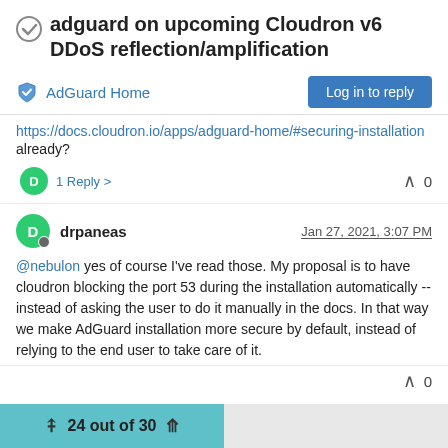adguard on upcoming Cloudron v6 DDoS reflection/amplification
AdGuard Home
https://docs.cloudron.io/apps/adguard-home/#securing-installation already?
1 Reply >   0
drpaneas   Jan 27, 2021, 3:07 PM
@nebulon yes of course I've read those. My proposal is to have cloudron blocking the port 53 during the installation automatically -- instead of asking the user to do it manually in the docs. In that way we make AdGuard installation more secure by default, instead of relying to the end user to take care of it.
0
24 out of 30